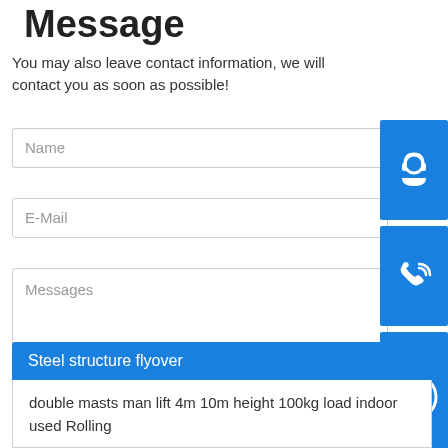Message
You may also leave contact information, we will contact you as soon as possible!
Name
E-Mail
Messages
Send Message
[Figure (infographic): Three blue icon buttons stacked vertically: customer support headset icon, phone icon, Skype icon]
Steel structure flyover
double masts man lift 4m 10m height 100kg load indoor used Rolling